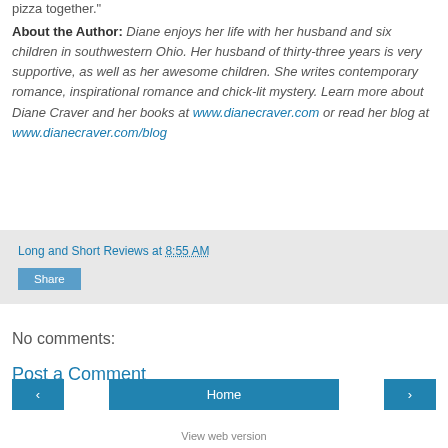pizza together.”
About the Author: Diane enjoys her life with her husband and six children in southwestern Ohio. Her husband of thirty-three years is very supportive, as well as her awesome children. She writes contemporary romance, inspirational romance and chick-lit mystery. Learn more about Diane Craver and her books at www.dianecraver.com or read her blog at www.dianecraver.com/blog
Long and Short Reviews at 8:55 AM
Share
No comments:
Post a Comment
Home